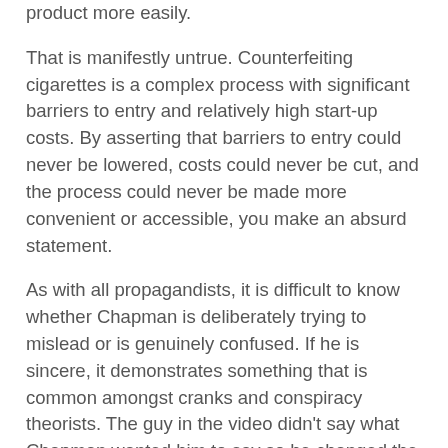product more easily.
That is manifestly untrue. Counterfeiting cigarettes is a complex process with significant barriers to entry and relatively high start-up costs. By asserting that barriers to entry could never be lowered, costs could never be cut, and the process could never be made more convenient or accessible, you make an absurd statement.
As with all propagandists, it is difficult to know whether Chapman is deliberately trying to mislead or is genuinely confused. If he is sincere, it demonstrates something that is common amongst cranks and conspiracy theorists. The guy in the video didn't say what Chapman wanted him to say so he changed the guy's words around in his head. He then made a basic error of logic which led to a patently ridiculous conclusion and yet, because he cannot see where his thought process went wrong—and because the conclusion matches what he wants to believe—he incorporates it into his dogma as if it were fact. Whereas other people would regard an absurd logical outcome to be the result of absurd logic, he treats the absurd as if it were rational and dismisses